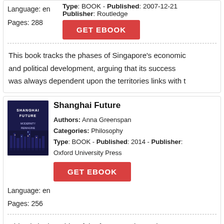Language: en
Pages: 288
Type: BOOK - Published: 2007-12-21 - Publisher: Routledge
GET EBOOK
This book tracks the phases of Singapore's economic and political development, arguing that its success was always dependent upon the territories links with t
Shanghai Future
Authors: Anna Greenspan
Categories: Philosophy
Type: BOOK - Published: 2014 - Publisher: Oxford University Press
GET EBOOK
Language: en
Pages: 256
China is in the midst of the fastest and most intense process of urbanization the world has ever known.